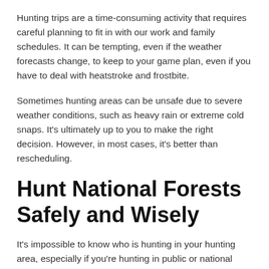Hunting trips are a time-consuming activity that requires careful planning to fit in with our work and family schedules. It can be tempting, even if the weather forecasts change, to keep to your game plan, even if you have to deal with heatstroke and frostbite.
Sometimes hunting areas can be unsafe due to severe weather conditions, such as heavy rain or extreme cold snaps. It’s ultimately up to you to make the right decision. However, in most cases, it’s better than rescheduling.
Hunt National Forests Safely and Wisely
It’s impossible to know who is hunting in your hunting area, especially if you’re hunting in public or national forests. This land is shared with hunters and hikers, but they don’t